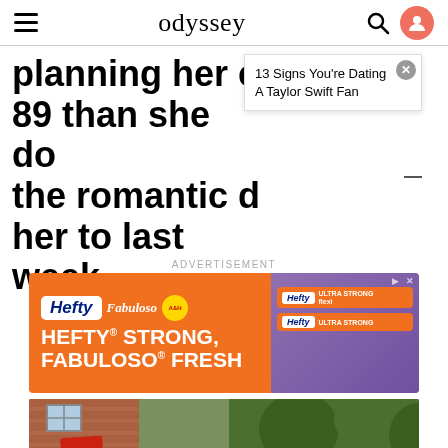odyssey
planning her c 89 than she do the romantic d her to last week.
13 Signs You're Dating A Taylor Swift Fan
ADVERTISEMENT
[Figure (photo): Hefty STRONG, FABULOSO FRESH advertisement banner with orange background, Hefty and Fabuloso logos]
[Figure (photo): Partial outdoor photo showing a brick building with a window, a red sign, and green trees in background]